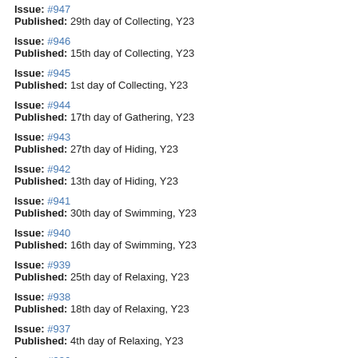Issue: #947
Published: 29th day of Collecting, Y23
Issue: #946
Published: 15th day of Collecting, Y23
Issue: #945
Published: 1st day of Collecting, Y23
Issue: #944
Published: 17th day of Gathering, Y23
Issue: #943
Published: 27th day of Hiding, Y23
Issue: #942
Published: 13th day of Hiding, Y23
Issue: #941
Published: 30th day of Swimming, Y23
Issue: #940
Published: 16th day of Swimming, Y23
Issue: #939
Published: 25th day of Relaxing, Y23
Issue: #938
Published: 18th day of Relaxing, Y23
Issue: #937
Published: 4th day of Relaxing, Y23
Issue: #936
Published: 21st day of Hunting, Y23
Issue: #935
Published: 7th day of Hunting, Y23